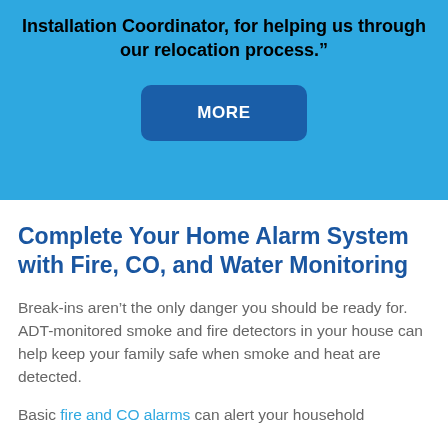Installation Coordinator, for helping us through our relocation process.”
MORE
Complete Your Home Alarm System with Fire, CO, and Water Monitoring
Break-ins aren’t the only danger you should be ready for. ADT-monitored smoke and fire detectors in your house can help keep your family safe when smoke and heat are detected.
Basic fire and CO alarms can alert your household